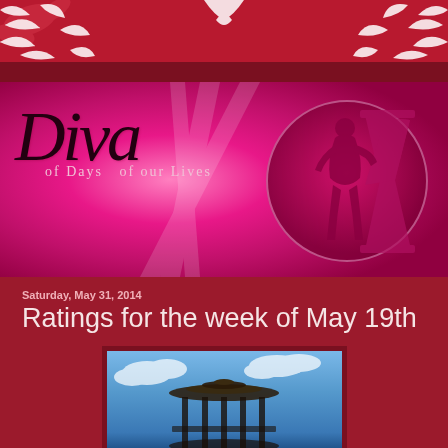[Figure (illustration): Red decorative banner with white floral/leaf scroll patterns on left and right sides and center]
[Figure (logo): Diva of Days of our Lives logo banner - hot pink/magenta background with script 'Diva' text and circle icon showing silhouette of woman next to hourglass]
Saturday, May 31, 2014
Ratings for the week of May 19th
[Figure (illustration): Illustration of a gazebo/pavilion structure against a blue cloudy sky background]